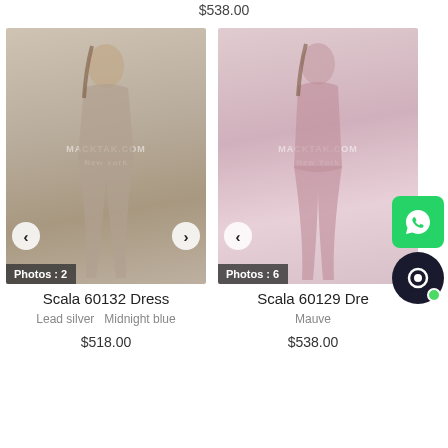$538.00
[Figure (photo): Model wearing Scala 60132 sequin halter jumpsuit in lead silver/midnight blue, full length, Photos: 2]
[Figure (photo): Model wearing Scala 60129 floral dress in mauve, full length with slit, Photos: 6]
Scala 60132 Dress
Lead silver   Midnight blue
$518.00
Scala 60129 Dre
Mauve
$538.00